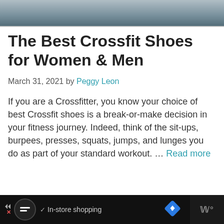[Figure (photo): Top portion of a photo, appears to be outdoor/athletic scene with dark tones]
The Best Crossfit Shoes for Women & Men
March 31, 2021 by Peggy Leon
If you are a Crossfitter, you know your choice of best Crossfit shoes is a break-or-make decision in your fitness journey. Indeed, think of the sit-ups, burpees, presses, squats, jumps, and lunges you do as part of your standard workout. … Read more
[Figure (screenshot): Advertisement bar at bottom: In-store shopping ad with circular logo icon, checkmark, navigation diamond icon, and channel indicator]